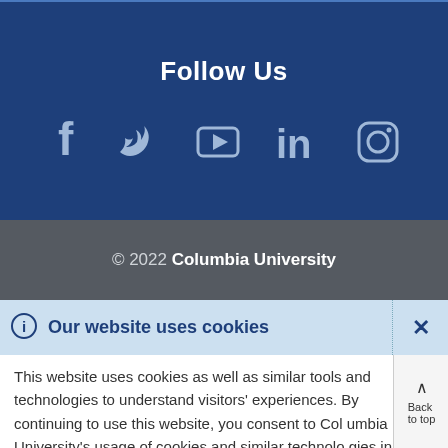Follow Us
[Figure (illustration): Social media icons: Facebook, Twitter, YouTube, LinkedIn, Instagram]
© 2022 Columbia University
Our website uses cookies
This website uses cookies as well as similar tools and technologies to understand visitors' experiences. By continuing to use this website, you consent to Columbia University's usage of cookies and similar technologies in accordance with the Columbia University Website Cookie Notice.